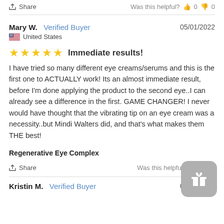Share  Was this helpful? 👍 0 👎 0
Mary W.  Verified Buyer   05/01/2022
🇺🇸 United States
⭐⭐⭐⭐⭐  Immediate results!
I have tried so many different eye creams/serums and this is the first one to ACTUALLY work! Its an almost immediate result, before I'm done applying the product to the second eye..I can already see a difference in the first. GAME CHANGER! I never would have thought that the vibrating tip on an eye cream was a necessity..but Mindi Walters did, and that's what makes them THE best!
Regenerative Eye Complex
Share  Was this helpful? 👍 0
Kristin M.  Verified Buyer   03/24/2022